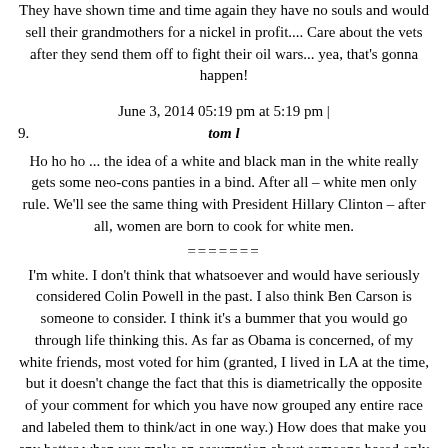They have shown time and time again they have no souls and would sell their grandmothers for a nickel in profit.... Care about the vets after they send them off to fight their oil wars... yea, that's gonna happen!
June 3, 2014 05:19 pm at 5:19 pm |
9. tom l
Ho ho ho ... the idea of a white and black man in the white really gets some neo-cons panties in a bind. After all – white men only rule. We'll see the same thing with President Hillary Clinton – after all, women are born to cook for white men.
=======
I'm white. I don't think that whatsoever and would have seriously considered Colin Powell in the past. I also think Ben Carson is someone to consider. I think it's a bummer that you would go through life thinking this. As far as Obama is concerned, of my white friends, most voted for him (granted, I lived in LA at the time, but it doesn't change the fact that this is diametrically the opposite of your comment for which you have now grouped any entire race and labeled them to think/act in one way.) How does that make you any better when you make an assumption about someone based only on their race?